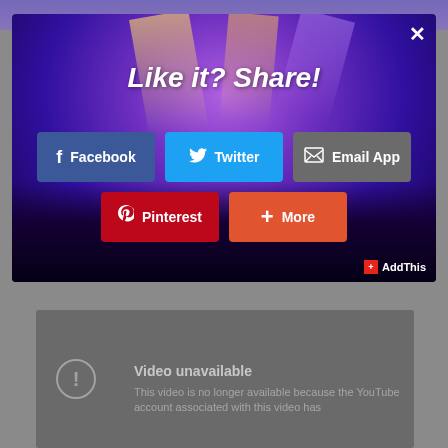[Figure (screenshot): Social sharing modal dialog overlaid on a concert/music venue photo with purple stage lighting and crowd silhouette. Contains 'Like it? Share!' title and share buttons for Facebook, Twitter, Email App, Pinterest, and More. AddThis branding in bottom right. Below is a YouTube video embed showing 'Video unavailable' message.]
Like it? Share!
Facebook
Twitter
Email App
Pinterest
More
AddThis
Video unavailable
This video is no longer available because the YouTube account associated with this video has